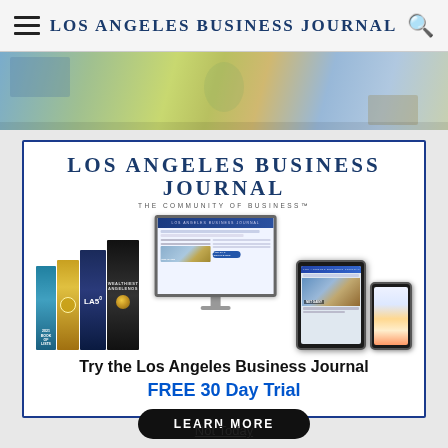Los Angeles Business Journal
[Figure (photo): Aerial view hero image strip showing buildings, palm trees, and streets]
[Figure (infographic): Los Angeles Business Journal subscription advertisement showing logo, product collage of books and digital devices, and call-to-action]
Try the Los Angeles Business Journal
FREE 30 Day Trial
LEARN MORE
Not Today